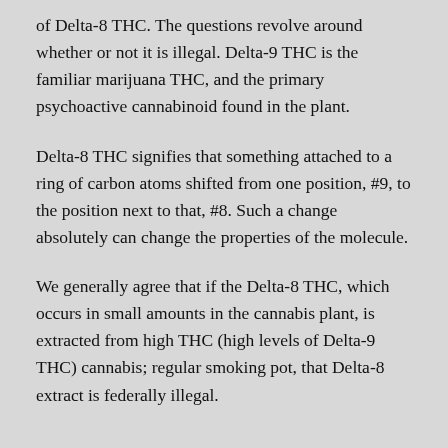of Delta-8 THC. The questions revolve around whether or not it is illegal. Delta-9 THC is the familiar marijuana THC, and the primary psychoactive cannabinoid found in the plant.
Delta-8 THC signifies that something attached to a ring of carbon atoms shifted from one position, #9, to the position next to that, #8. Such a change absolutely can change the properties of the molecule.
We generally agree that if the Delta-8 THC, which occurs in small amounts in the cannabis plant, is extracted from high THC (high levels of Delta-9 THC) cannabis; regular smoking pot, that Delta-8 extract is federally illegal.